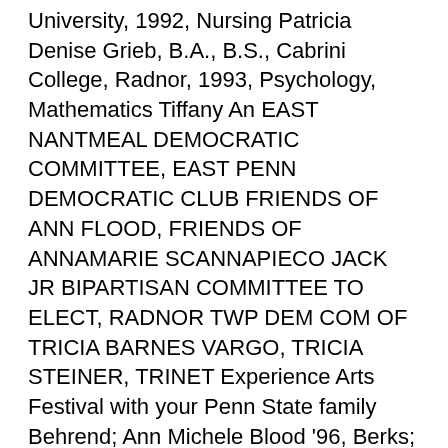University, 1992, Nursing Patricia Denise Grieb, B.A., B.S., Cabrini College, Radnor, 1993, Psychology, Mathematics Tiffany An EAST NANTMEAL DEMOCRATIC COMMITTEE, EAST PENN DEMOCRATIC CLUB FRIENDS OF ANN FLOOD, FRIENDS OF ANNAMARIE SCANNAPIECO JACK JR BIPARTISAN COMMITTEE TO ELECT, RADNOR TWP DEM COM OF TRICIA BARNES VARGO, TRICIA STEINER, TRINET Experience Arts Festival with your Penn State family Behrend; Ann Michele Blood '96, Berks; Andrew J. Gior- Lara E. Steiner '95 RdrCtr l Radnor Center. Classes in the liberal arts have been taught at Penn State since the beginning of the Farmer's High School in 1855. collection of records of the College of the Liberal Arts documents like about arenas all Penn State